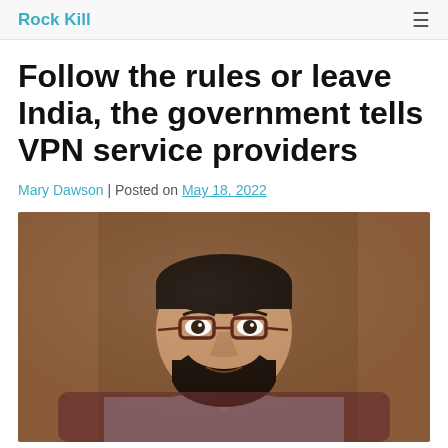Rock Kill
Follow the rules or leave India, the government tells VPN service providers
Mary Dawson | Posted on May 18, 2022
[Figure (photo): Portrait photograph of a man with glasses and a beard, wearing a light colored shirt, seated in front of a brown wooden background.]